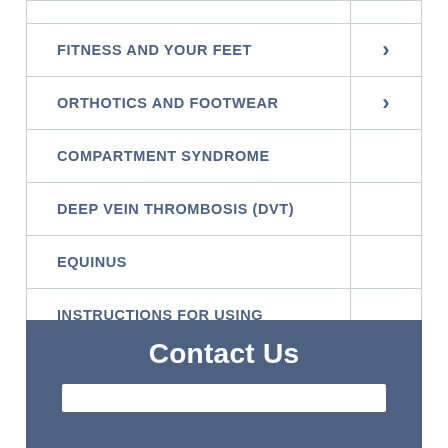| Menu Item | Link |
| --- | --- |
|  |  |
| FITNESS AND YOUR FEET | > |
| ORTHOTICS AND FOOTWEAR | > |
| COMPARTMENT SYNDROME |  |
| DEEP VEIN THROMBOSIS (DVT) |  |
| EQUINUS |  |
| INSTRUCTIONS FOR USING CRUTCHES |  |
| STAPH INFECTIONS OF THE FOOT |  |
Contact Us